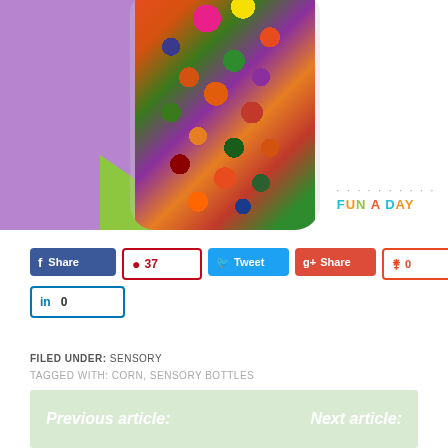[Figure (photo): A glass jar filled with colorful mixed candy/sensory items (jellybeans, M&Ms, pom poms) sitting in front of a purple background panel with a green accent, with 'FUN A DAY' watermark logo in bottom right corner]
Share | 37 | Tweet | Share | 0 | 0
FILED UNDER: SENSORY
TAGGED WITH: CORN, SENSORY BOTTLES
Previous article:
Next article: